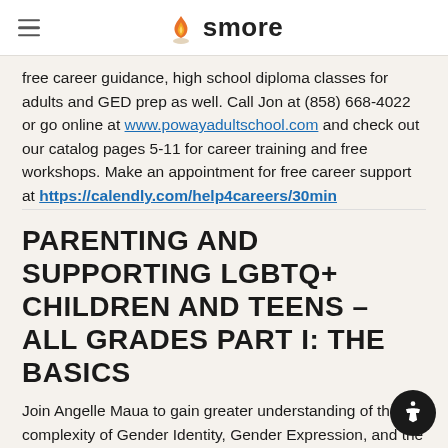smore
free career guidance, high school diploma classes for adults and GED prep as well. Call Jon at (858) 668-4022 or go online at www.powayadultschool.com and check out our catalog pages 5-11 for career training and free workshops. Make an appointment for free career support at https://calendly.com/help4careers/30min
PARENTING AND SUPPORTING LGBTQ+ CHILDREN AND TEENS – ALL GRADES PART I: THE BASICS
Join Angelle Maua to gain greater understanding of the complexity of Gender Identity, Gender Expression, and the Gender Spectrum.
1. Discuss the use of pronouns.
2. How to advocate for gender equity for your child